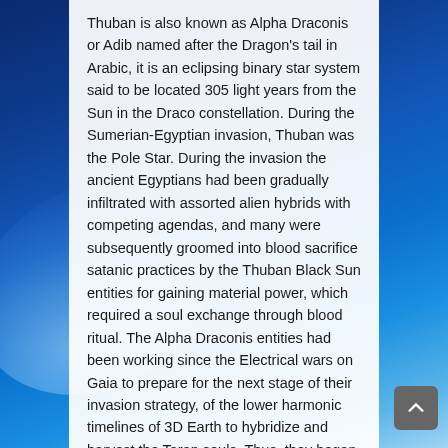Thuban is also known as Alpha Draconis or Adib named after the Dragon's tail in Arabic, it is an eclipsing binary star system said to be located 305 light years from the Sun in the Draco constellation. During the Sumerian-Egyptian invasion, Thuban was the Pole Star. During the invasion the ancient Egyptians had been gradually infiltrated with assorted alien hybrids with competing agendas, and many were subsequently groomed into blood sacrifice satanic practices by the Thuban Black Sun entities for gaining material power, which required a soul exchange through blood ritual. The Alpha Draconis entities had been working since the Electrical wars on Gaia to prepare for the next stage of their invasion strategy, of the lower harmonic timelines of 3D Earth to hybridize and harvest the Taran souls. Thus, they began to build their military headquarters in Thuban and Orion's Belt to then wait for the synchronic alignment of the North Pole Star into the Earth's primary diamond